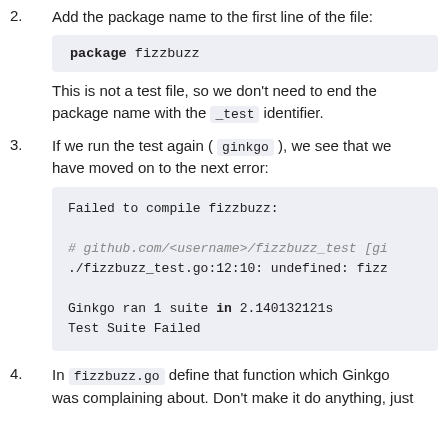2. Add the package name to the first line of the file:
package fizzbuzz
This is not a test file, so we don't need to end the package name with the _test identifier.
3. If we run the test again ( ginkgo ), we see that we have moved on to the next error:
Failed to compile fizzbuzz:

# github.com/<username>/fizzbuzz_test [gi
./fizzbuzz_test.go:12:10: undefined: fizz

Ginkgo ran 1 suite in 2.140132121s
Test Suite Failed
4. In fizzbuzz.go define that function which Ginkgo was complaining about. Don't make it do anything, just